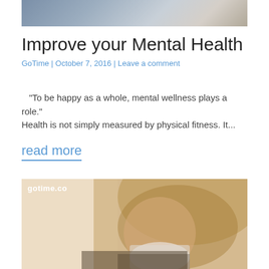[Figure (photo): Top portion of a photo showing a person's lap/hands area, cropped at the top of the page]
Improve your Mental Health
GoTime | October 7, 2016 | Leave a comment
“To be happy as a whole, mental wellness plays a role.” Health is not simply measured by physical fitness. It...
read more
[Figure (photo): Photo of a blonde woman holding and drinking from a white cup/mug, warm tones, with gotime.co watermark in top-left corner]